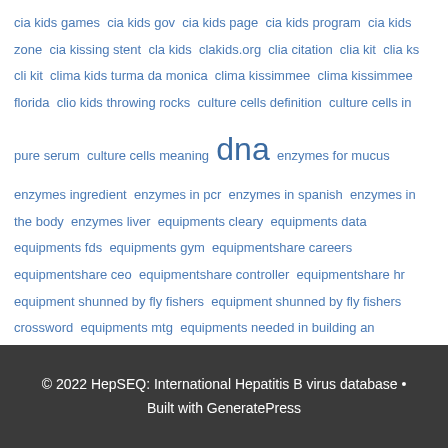cia kids games cia kids gov cia kids page cia kids program cia kids zone cia kissing stent cla kids clakids.org clia citation clia kit clia ks cli kit clima kids turma da monica clima kissimmee clima kissimmee florida clio kids throwing rocks culture cells definition culture cells in pure serum culture cells meaning dna enzymes for mucus enzymes ingredient enzymes in pcr enzymes in spanish enzymes in the body enzymes liver equipments cleary equipments data equipments fds equipments gym equipmentshare careers equipmentshare ceo equipmentshare controller equipmentshare hr equipment shunned by fly fishers equipment shunned by fly fishers crossword equipments mtg equipments needed in building an aquarium equipment synonym equipment trader
© 2022 HepSEQ: International Hepatitis B virus database • Built with GeneratePress